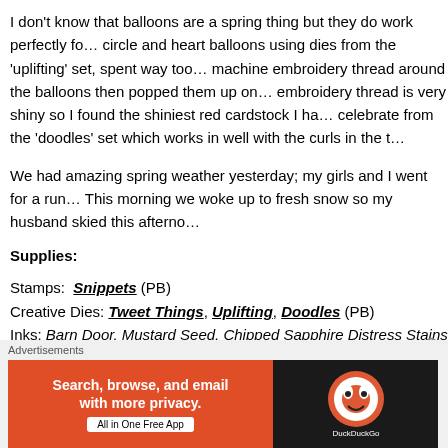I don't know that balloons are a spring thing but they do work perfectly fo... circle and heart balloons using dies from the 'uplifting' set, spent way too... machine embroidery thread around the balloons then popped them up on... embroidery thread is very shiny so I found the shiniest red cardstock I ha... celebrate from the 'doodles' set which works in well with the curls in the t...
We had amazing spring weather yesterday; my girls and I went for a run... This morning we woke up to fresh snow so my husband skied this afterno...
Supplies:
Stamps: Snippets (PB)
Creative Dies: Tweet Things, Uplifting, Doodles (PB)
Inks: Barn Door, Mustard Seed, Chipped Sapphire Distress Stains (Rang... (Tsukineko)
Cardstock: Fabriano 100% cotton hot pressed watercolour paper, Neena...
Advertisements
[Figure (other): DuckDuckGo advertisement banner: orange left panel with text 'Search, browse, and email with more privacy. All in One Free App', dark right panel with DuckDuckGo logo]